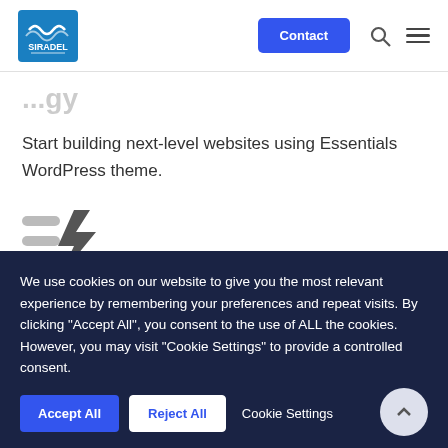Siradel | Contact
Start building next-level websites using Essentials WordPress theme.
[Figure (illustration): Icon with three horizontal lines and a lightning bolt symbol, representing speed or features]
Custom design layouts
We use cookies on our website to give you the most relevant experience by remembering your preferences and repeat visits. By clicking "Accept All", you consent to the use of ALL the cookies. However, you may visit "Cookie Settings" to provide a controlled consent.
Accept All | Reject All | Cookie Settings